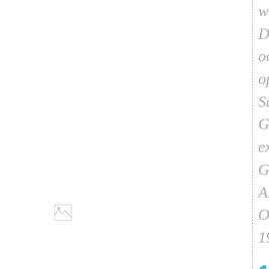with Max Deutsch on occasion of opening of Schönberg-Gedachtnis exhibition, Gogh Museum Amsterdam, October 19, 1975.
[Figure (photo): Small broken/placeholder image icon in the left column area]
1976
The exhibit From musi...